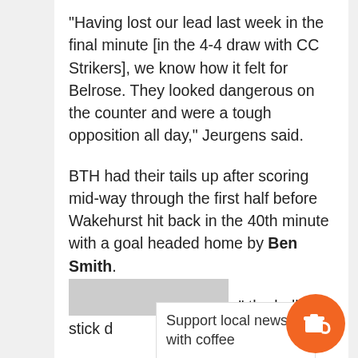“Having lost our lead last week in the final minute [in the 4-4 draw with CC Strikers], we know how it felt for Belrose. They looked dangerous on the counter and were a tough opposition all day,” Jeurgens said.
BTH had their tails up after scoring mid-way through the first half before Wakehurst hit back in the 40th minute with a goal headed home by Ben Smith.
Juerge[ns said at half-tim]" the ball, stick d[own and...]
Support local news - with coffee
“Our d[evelopme]nt veme[nt]
we could make is to play with intensity for 90